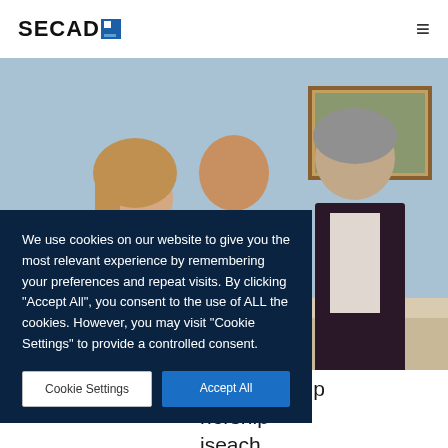SECADE
[Figure (photo): Three people posing for a photo indoors, in front of a painting on a light blue/green wall. A woman on the left with blonde hair, a man in the center wearing a suit with a pink/magenta tie, and an older man on the right in a dark blazer and light shirt.]
We use cookies on our website to give you the most relevant experience by remembering your preferences and repeat visits. By clicking "Accept All", you consent to the use of ALL the cookies. However, you may visit "Cookie Settings" to provide a controlled consent.
Cookie Settings
Accept All
o Partnership
nership
iseach